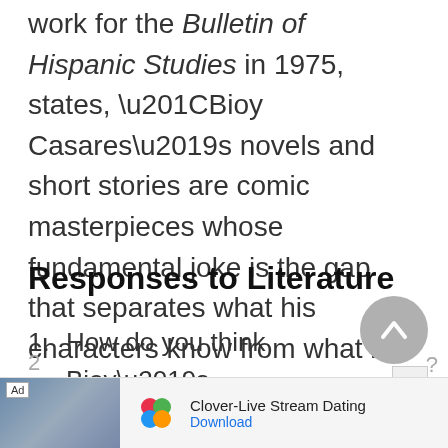work for the Bulletin of Hispanic Studies in 1975, states, “Bioy Casares’s novels and short stories are comic masterpieces whose fundamental joke is the gap that separates what his characters know from what is going on.”
Responses to Literature
1. How do you think Bioy’s collaboration with Jorge Luis